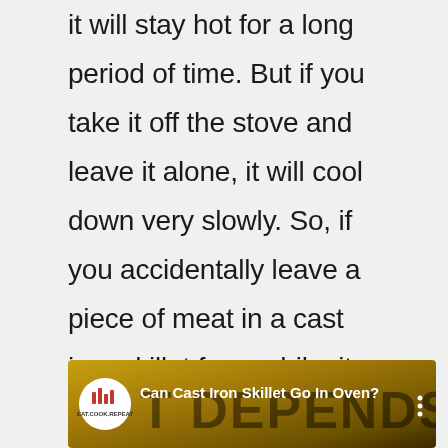it will stay hot for a long period of time. But if you take it off the stove and leave it alone, it will cool down very slowly. So, if you accidentally leave a piece of meat in a cast iron skillet for a while, it will probably get burnt.
[Figure (screenshot): Video thumbnail/banner showing 'IT DEPENDS ON' text in large letters over a golden/dark background, with a circular channel logo for 'Eat Cook Repeat' on the left and the video title 'Can Cast Iron Skillet Go In Oven?' in white text, plus a three-dot menu icon on the right.]